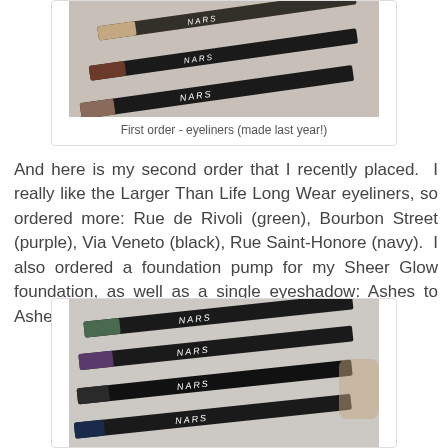[Figure (photo): Three NARS eyeliner pencils laid diagonally showing colored tips and NARS branding on black barrels]
First order - eyeliners (made last year!)
And here is my second order that I recently placed. I really like the Larger Than Life Long Wear eyeliners, so ordered more: Rue de Rivoli (green), Bourbon Street (purple), Via Veneto (black), Rue Saint-Honore (navy). I also ordered a foundation pump for my Sheer Glow foundation, as well as a single eyeshadow: Ashes to Ashes.
[Figure (photo): Four NARS eyeliner pencils laid diagonally showing green, purple, black, and navy colored tips with NARS branding on black barrels]